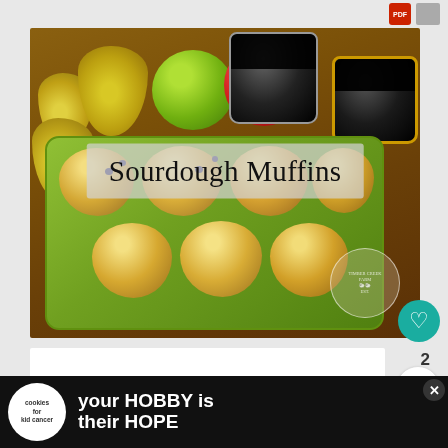[Figure (photo): Food photography showing sourdough muffins on a green ceramic tray, surrounded by pears, green and red apples, and two mugs of black coffee on a wooden surface. Text overlay reads 'Sourdough Muffins' with a semi-transparent background. A farm logo watermark is visible in the lower right.]
Sourdough Muffins
[Figure (photo): Advertisement banner at the bottom showing cookies for kid cancer logo on left and text 'your HOBBY is their HOPE' on dark background]